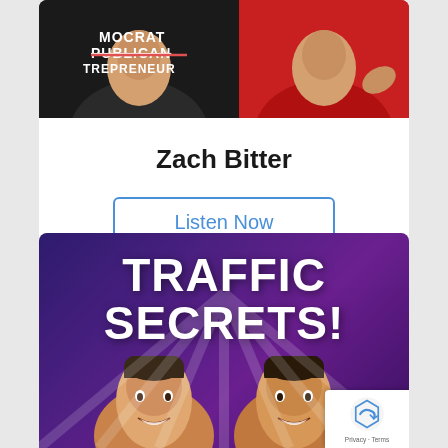[Figure (photo): Top portion of a podcast/blog card showing two people in shirts — one black shirt with 'REPUBLICAN ENTREPRENEUR' text (strikethrough on PUBLICAN), one red shirt — cropped at shoulders]
Zach Bitter
Listen Now
[Figure (photo): Promotional banner for 'TRAFFIC SECRETS!' podcast/show with purple/dark background, rays of light, and two smiling men in lower portion. reCAPTCHA badge visible in bottom-right corner with 'Privacy · Terms' text.]